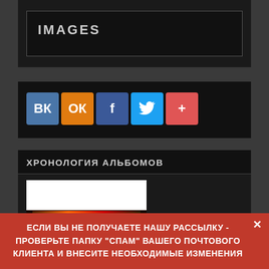IMAGES
[Figure (screenshot): Social share buttons: VK (blue), OK (orange), Facebook (blue), Twitter (light blue), Plus (red-orange)]
ХРОНОЛОГИЯ АЛЬБОМОВ
[Figure (photo): Album thumbnail image, partially visible, white top half and dark bottom half with colorful illustration]
ЕСЛИ ВЫ НЕ ПОЛУЧАЕТЕ НАШУ РАССЫЛКУ - ПРОВЕРЬТЕ ПАПКУ "СПАМ" ВАШЕГО ПОЧТОВОГО КЛИЕНТА И ВНЕСИТЕ НЕОБХОДИМЫЕ ИЗМЕНЕНИЯ